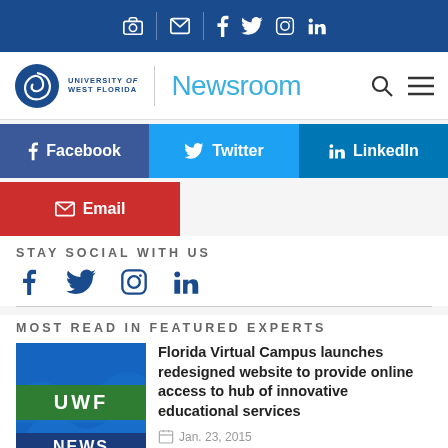University of West Florida Newsroom — top navigation bar with social icons
[Figure (screenshot): UWF Newsroom header with logo and navigation]
[Figure (infographic): Social share buttons: Facebook, Twitter, LinkedIn, Email]
STAY SOCIAL WITH US
[Figure (infographic): Social media icons: Facebook, Twitter, Instagram, LinkedIn]
MOST READ IN FEATURED EXPERTS
[Figure (photo): UWF News thumbnail image with blue background and green UWF NEWS text]
Florida Virtual Campus launches redesigned website to provide online access to hub of innovative educational services
Jan. 23, 2015